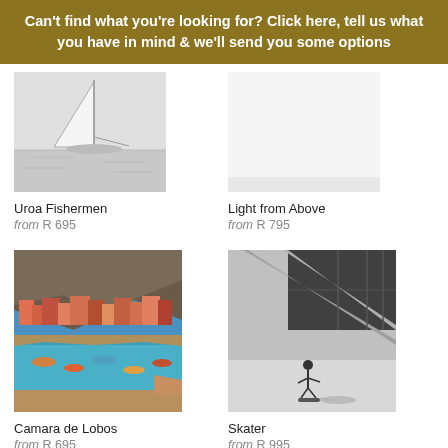Can't find what you're looking for? Click here, tell us what you have in mind & we'll send you some options
[Figure (photo): Black and white photo of a sailboat with a tall sail on the water — Uroa Fishermen]
Uroa Fishermen
from R 695
[Figure (photo): Light from Above — mostly blank/empty light photo]
Light from Above
from R 795
[Figure (photo): Colorful aerial photo of Camara de Lobos harbor with turquoise water and colorful buildings on a cliff]
Camara de Lobos
from R 695
[Figure (photo): Black and white photo of a skater in a concrete architectural space]
Skater
from R 995